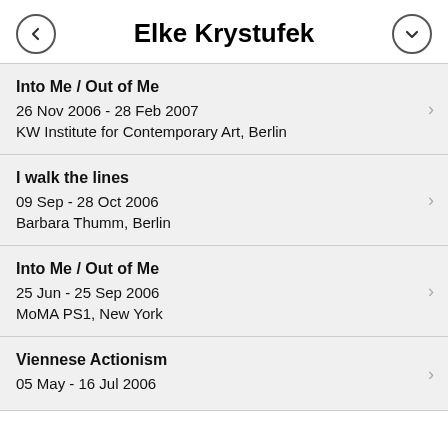Elke Krystufek
Into Me / Out of Me
26 Nov 2006 - 28 Feb 2007
KW Institute for Contemporary Art, Berlin
I walk the lines
09 Sep - 28 Oct 2006
Barbara Thumm, Berlin
Into Me / Out of Me
25 Jun - 25 Sep 2006
MoMA PS1, New York
Viennese Actionism
05 May - 16 Jul 2006